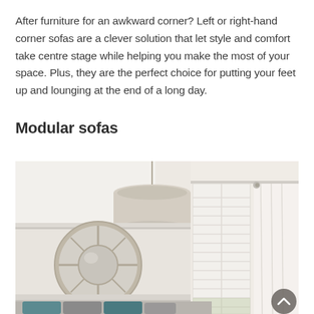After furniture for an awkward corner? Left or right-hand corner sofas are a clever solution that let style and comfort take centre stage while helping you make the most of your space. Plus, they are the perfect choice for putting your feet up and lounging at the end of a long day.
Modular sofas
[Figure (photo): Interior room photo showing a ceiling pendant lamp with a large beige drum shade, a round circular mirror with a frame divided into segments mounted on a cream wall, white plantation shutters on a window with sheer white curtains, and a sofa with teal and grey cushions at the bottom edge of the frame.]